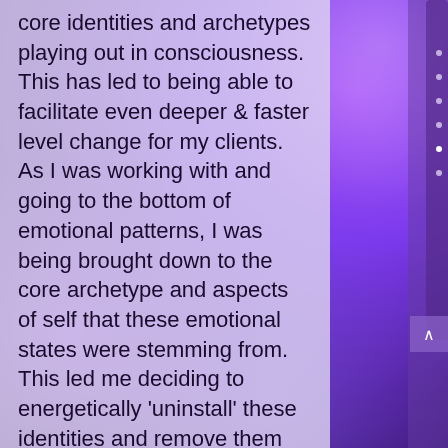core identities and archetypes playing out in consciousness. This has led to being able to facilitate even deeper & faster level change for my clients. As I was working with and going to the bottom of emotional patterns, I was being brought down to the core archetype and aspects of self that these emotional states were stemming from. This led me deciding to energetically 'uninstall' these identities and remove them from the body grid. And from there, to consciously choose the archetypes that are most useful in helping my